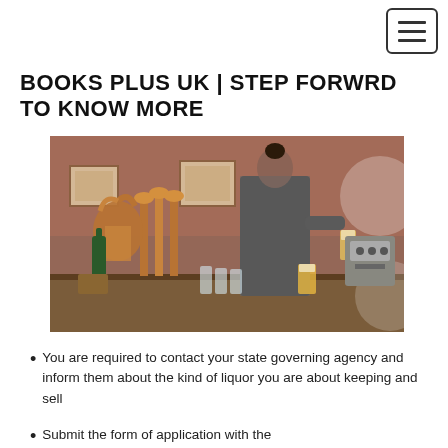☰ (hamburger menu button)
BOOKS PLUS UK | STEP FORWRD TO KNOW MORE
[Figure (photo): A bartender or server pouring a beer at a bar with copper draft taps, glasses on the counter, a brick wall background, and warm ambient lighting.]
You are required to contact your state governing agency and inform them about the kind of liquor you are about keeping and sell
Submit the form of application with the